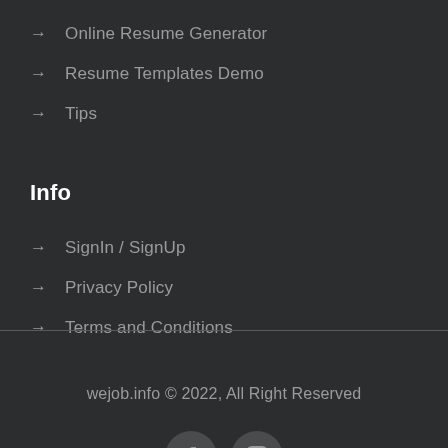→ Online Resume Generator
→ Resume Templates Demo
→ Tips
Info
→ SignIn / SignUp
→ Privacy Policy
→ Terms and Conditions
wejob.info © 2022, All Right Reserved